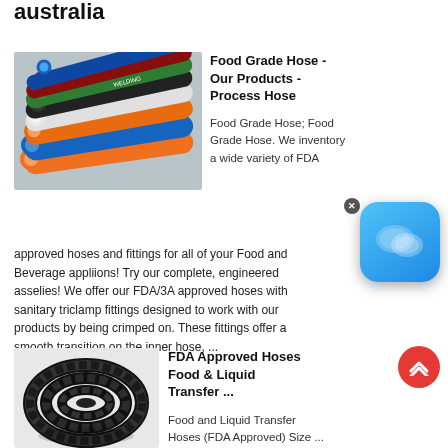australia
[Figure (photo): Colorful industrial hoses fanned out showing cross-sections — orange, blue, green, red, white, black hoses]
Food Grade Hose - Our Products - Process Hose
Food Grade Hose; Food Grade Hose. We inventory a wide variety of FDA approved hoses and fittings for all of your Food and Beverage appliions! Try our complete, engineered asselies! We offer our FDA/3A approved hoses with sanitary triclamp fittings designed to work with our products by being crimped on. These fittings offer a smooth transition on the inner hose, ...
[Figure (photo): Coil of black corrugated hose]
FDA Approved Hoses Food & Liquid Transfer ...
Food and Liquid Transfer Hoses (FDA Approved) Size ...